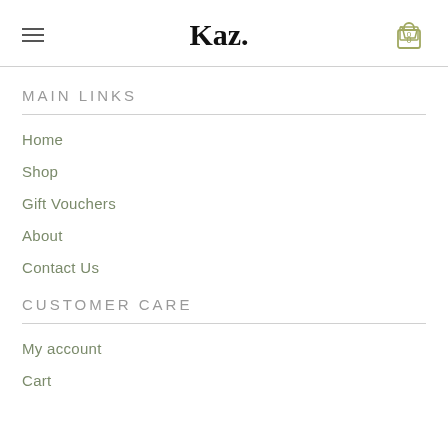Kaz.
MAIN LINKS
Home
Shop
Gift Vouchers
About
Contact Us
CUSTOMER CARE
My account
Cart